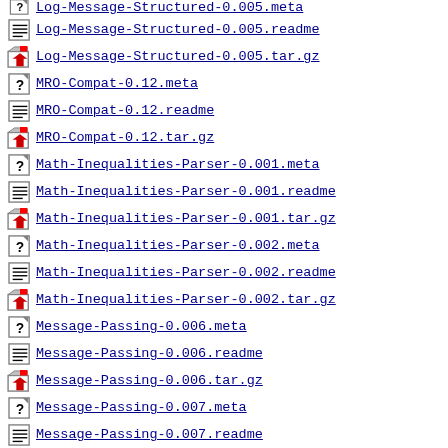Log-Message-Structured-0.005.meta
Log-Message-Structured-0.005.readme
Log-Message-Structured-0.005.tar.gz
MRO-Compat-0.12.meta
MRO-Compat-0.12.readme
MRO-Compat-0.12.tar.gz
Math-Inequalities-Parser-0.001.meta
Math-Inequalities-Parser-0.001.readme
Math-Inequalities-Parser-0.001.tar.gz
Math-Inequalities-Parser-0.002.meta
Math-Inequalities-Parser-0.002.readme
Math-Inequalities-Parser-0.002.tar.gz
Message-Passing-0.006.meta
Message-Passing-0.006.readme
Message-Passing-0.006.tar.gz
Message-Passing-0.007.meta
Message-Passing-0.007.readme